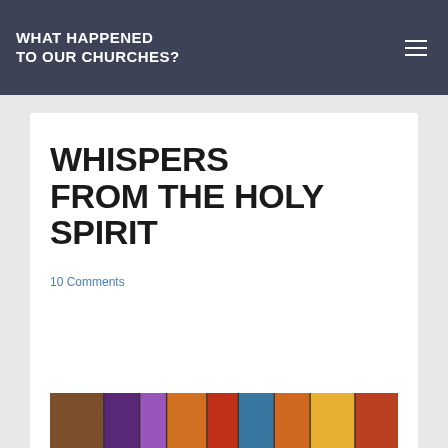WHAT HAPPENED TO OUR CHURCHES?
WHISPERS FROM THE HOLY SPIRIT
10 Comments
[Figure (photo): Stained glass window with colorful segments in purple, orange, yellow, red, and blue tones]